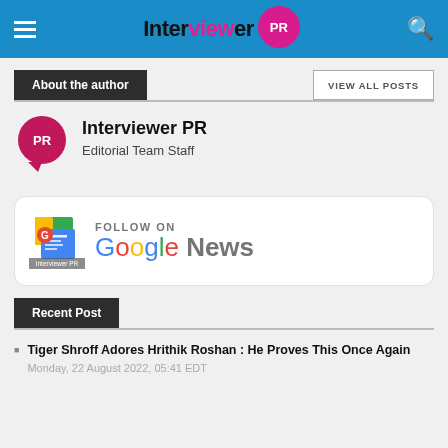Interviewer PR
About the author
Interviewer PR
Editorial Team Staff
[Figure (logo): Follow on Google News banner with Google News icon and colorful Google News logo text]
Recent Post
Tiger Shroff Adores Hrithik Roshan : He Proves This Once Again  Monday, 22 August 2022, 05:41 EDT